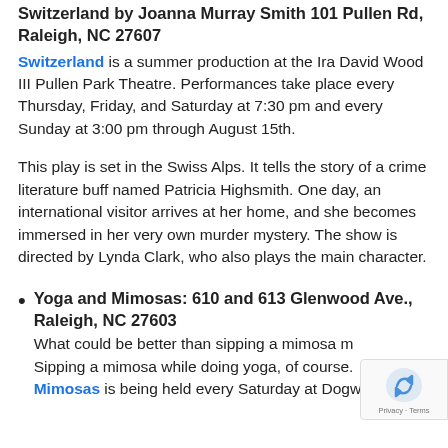Switzerland by Joanna Murray Smith 101 Pullen Rd, Raleigh, NC 27607
Switzerland is a summer production at the Ira David Wood III Pullen Park Theatre. Performances take place every Thursday, Friday, and Saturday at 7:30 pm and every Sunday at 3:00 pm through August 15th.
This play is set in the Swiss Alps. It tells the story of a crime literature buff named Patricia Highsmith. One day, an international visitor arrives at her home, and she becomes immersed in her very own murder mystery. The show is directed by Lynda Clark, who also plays the main character.
Yoga and Mimosas: 610 and 613 Glenwood Ave., Raleigh, NC 27603
What could be better than sipping a mimosa m... Sipping a mimosa while doing yoga, of course... Mimosas is being held every Saturday at Dogw...